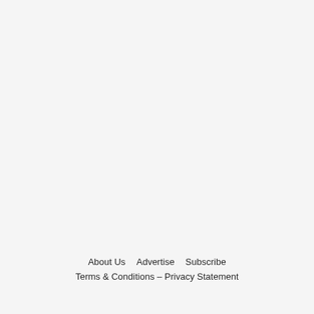About Us   Advertise   Subscribe
Terms & Conditions – Privacy Statement